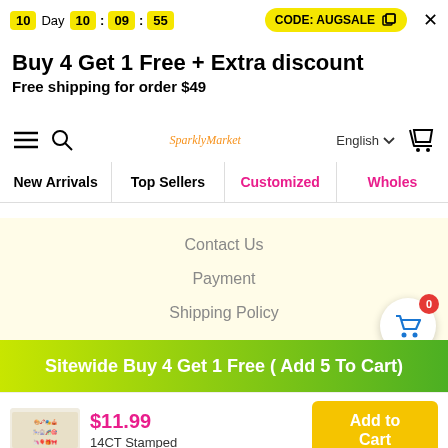10 Day 10 : 09 : 55   CODE: AUGSALE  ×
Buy 4 Get 1 Free + Extra discount
Free shipping for order $49
[Figure (screenshot): Website navigation bar with hamburger menu, search icon, logo, English language selector, and cart icon]
New Arrivals   Top Sellers   Customized   Wholes
Contact Us
Payment
Shipping Policy
[Figure (infographic): Floating cart button with 0 badge and scroll-up arrow button]
Sitewide Buy 4 Get 1 Free ( Add 5 To Cart)
$11.99  14CT Stamped
Add to Cart